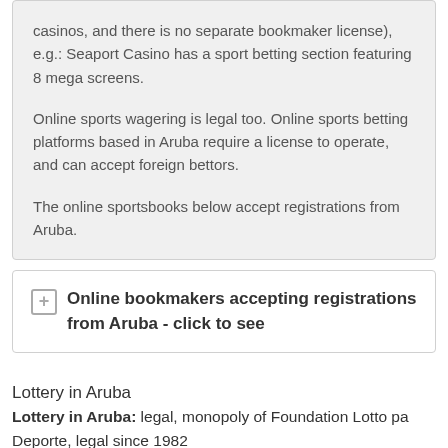casinos, and there is no separate bookmaker license), e.g.: Seaport Casino has a sport betting section featuring 8 mega screens.
Online sports wagering is legal too. Online sports betting platforms based in Aruba require a license to operate, and can accept foreign bettors.
The online sportsbooks below accept registrations from Aruba.
Online bookmakers accepting registrations from Aruba - click to see
Lottery in Aruba
Lottery in Aruba: legal, monopoly of Foundation Lotto pa Deporte, legal since 1982